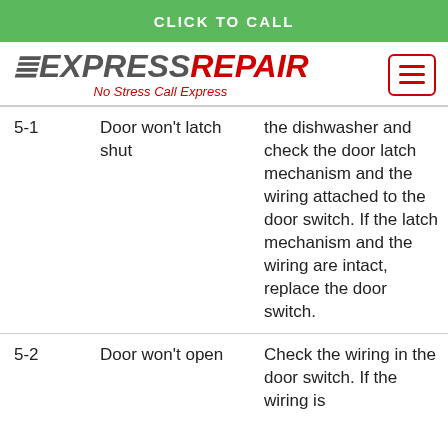CLICK TO CALL
[Figure (logo): EXPRESS REPAIR logo with tagline 'No Stress Call Express' and hamburger menu icon]
| Code | Issue | Description |
| --- | --- | --- |
| 5-1 | Door won't latch shut | the dishwasher and check the door latch mechanism and the wiring attached to the door switch. If the latch mechanism and the wiring are intact, replace the door switch. |
| 5-2 | Door won't open | Check the wiring in the door switch. If the wiring is |